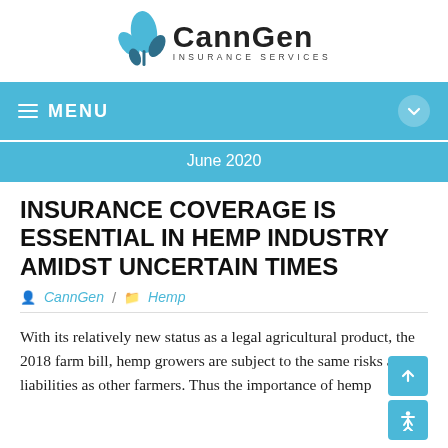[Figure (logo): CannGen Insurance Services logo with blue cannabis leaf and black text]
MENU
June 2020
INSURANCE COVERAGE IS ESSENTIAL IN HEMP INDUSTRY AMIDST UNCERTAIN TIMES
CannGen / Hemp
With its relatively new status as a legal agricultural product, the 2018 farm bill, hemp growers are subject to the same risks and liabilities as other farmers. Thus the importance of hemp